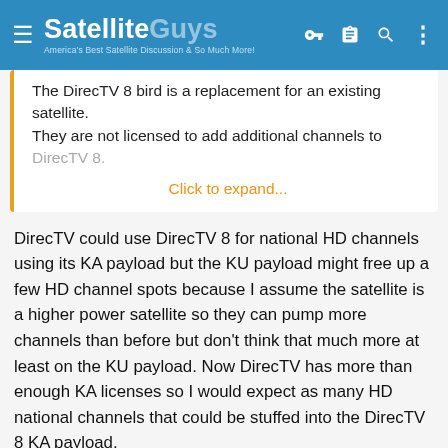SatelliteGuys — America's Best Satellite Discussion & So Much More!
The DirecTV 8 bird is a replacement for an existing satellite.
They are not licensed to add additional channels to DirecTV 8.
Click to expand...
DirecTV could use DirecTV 8 for national HD channels using its KA payload but the KU payload might free up a few HD channel spots because I assume the satellite is a higher power satellite so they can pump more channels than before but don't think that much more at least on the KU payload. Now DirecTV has more than enough KA licenses so I would expect as many HD national channels that could be stuffed into the DirecTV 8 KA payload.